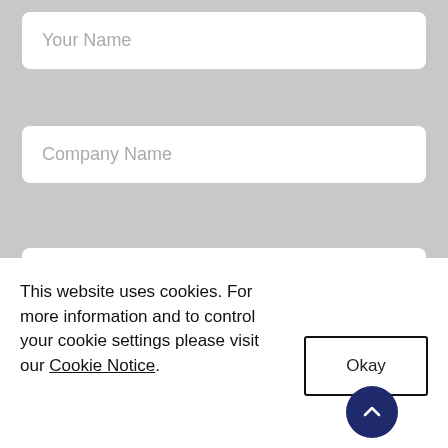Your Name
Company Name
Your Telephone Number
Email Address
This website uses cookies. For more information and to control your cookie settings please visit our Cookie Notice.